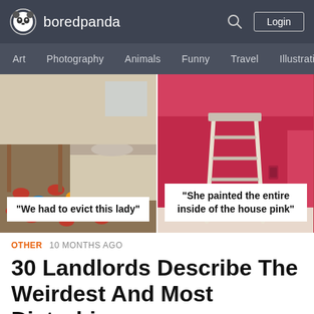boredpanda — Login
Art  Photography  Animals  Funny  Travel  Illustration
[Figure (photo): Left: cluttered room full of beer cans and trash with caption 'We had to evict this lady'. Right: bright pink painted room interior with a stepladder and caption 'She painted the entire inside of the house pink'.]
OTHER  10 MONTHS AGO
30 Landlords Describe The Weirdest And Most Disturbing